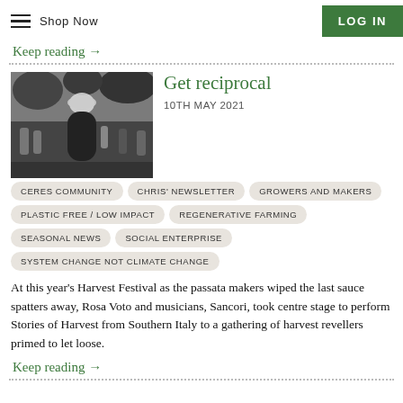Shop Now | LOG IN
Keep reading →
Get reciprocal
10TH MAY 2021
[Figure (photo): Black and white photo of a person in traditional dress walking through a crowd at an outdoor market or festival]
CERES COMMUNITY
CHRIS' NEWSLETTER
GROWERS AND MAKERS
PLASTIC FREE / LOW IMPACT
REGENERATIVE FARMING
SEASONAL NEWS
SOCIAL ENTERPRISE
SYSTEM CHANGE NOT CLIMATE CHANGE
At this year's Harvest Festival as the passata makers wiped the last sauce spatters away, Rosa Voto and musicians, Sancori, took centre stage to perform Stories of Harvest from Southern Italy to a gathering of harvest revellers primed to let loose.
Keep reading →